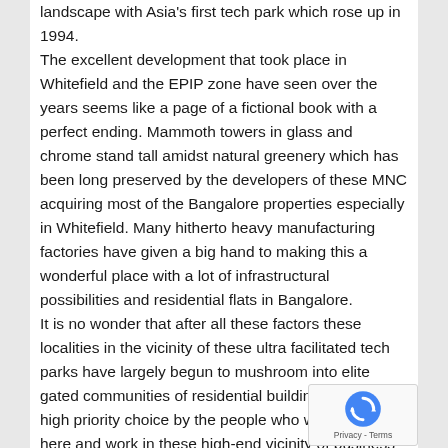landscape with Asia's first tech park which rose up in 1994. The excellent development that took place in Whitefield and the EPIP zone have seen over the years seems like a page of a fictional book with a perfect ending. Mammoth towers in glass and chrome stand tall amidst natural greenery which has been long preserved by the developers of these MNC acquiring most of the Bangalore properties especially in Whitefield. Many hitherto heavy manufacturing factories have given a big hand to making this a wonderful place with a lot of infrastructural possibilities and residential flats in Bangalore. It is no wonder that after all these factors these localities in the vicinity of these ultra facilitated tech parks have largely begun to mushroom into elite gated communities of residential buildings. Villas the high priority choice by the people who want to live here and work in these high-end vicinity of business parks. While the ITPB has singularly driven the demand for residential property options in its vicinity, the other tech parks and business parks in the EPIP zone too have drawn a high demand for housing options ranging from
[Figure (other): reCAPTCHA badge with rotating arrows icon and Privacy - Terms text]